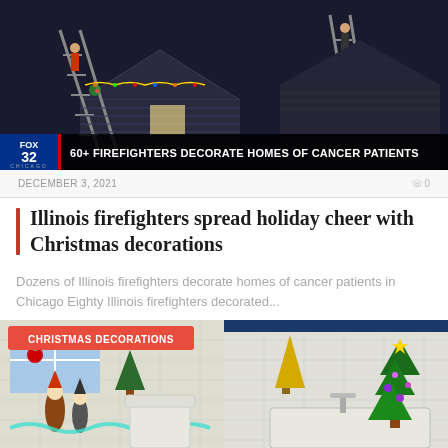[Figure (photo): News broadcast screenshot showing firefighters on ladders decorating a house at night, with FOX 32 news banner reading '60+ FIREFIGHTERS DECORATE HOMES OF CANCER PATIENTS']
DECEMBER 3, 2021       0
Illinois firefighters spread holiday cheer with Christmas decorations
Dozens of Illinois firefighters decorate homes of cancer patients in Chicago Eighty Illinois firefighters decorated...
[Figure (photo): Indoor bathroom scene decorated for Christmas with small Christmas trees, ornaments, tinsel garland, and gnome figurines on a white tiled counter. Red label reads 'CHRISTMAS DECORATIONS']